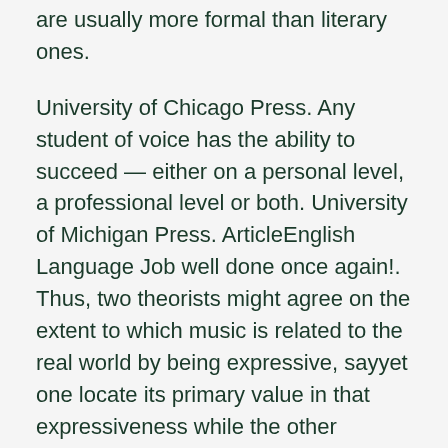…called academic essays also called papers, are usually more formal than literary ones.
University of Chicago Press. Any student of voice has the ability to succeed — either on a personal level, a professional level or both. University of Michigan Press. ArticleEnglish Language Job well done once again!. Thus, two theorists might agree on the extent to which music is related to the real world by being expressive, sayyet one locate its primary value in that expressiveness while the other locates it in its abstract, purely formal features.
Nonetheless, there are several theories available see entry on imagination, section 5. I have been using this writer and will continue to use them for future assignments.
Such arguments, though, have no consequences for the value of work-instantiation. Poe's explanation of the